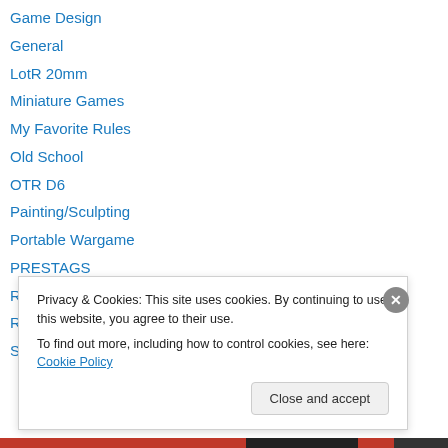Game Design
General
LotR 20mm
Miniature Games
My Favorite Rules
Old School
OTR D6
Painting/Sculpting
Portable Wargame
PRESTAGS
Reviews
RPG
Sci-Fi
Privacy & Cookies: This site uses cookies. By continuing to use this website, you agree to their use. To find out more, including how to control cookies, see here: Cookie Policy
Close and accept